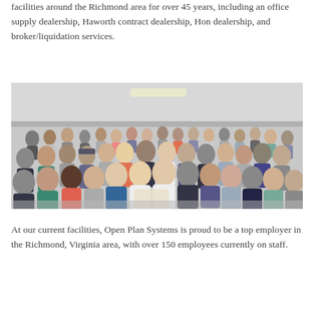facilities around the Richmond area for over 45 years, including an office supply dealership, Haworth contract dealership, Hon dealership, and broker/liquidation services.
[Figure (photo): Group photo of approximately 50+ employees gathered inside a large warehouse or facility, smiling for the camera. The crowd fills the frame from front to back.]
At our current facilities, Open Plan Systems is proud to be a top employer in the Richmond, Virginia area, with over 150 employees currently on staff.